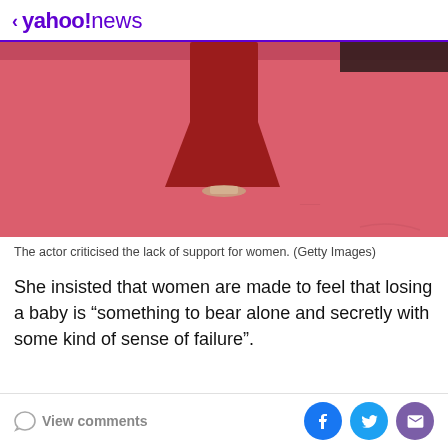< yahoo!news
[Figure (photo): Lower half of a person in a red dress standing on a red carpet, showing the hem of the dress and sandaled feet.]
The actor criticised the lack of support for women. (Getty Images)
She insisted that women are made to feel that losing a baby is “something to bear alone and secretly with some kind of sense of failure”.
View comments